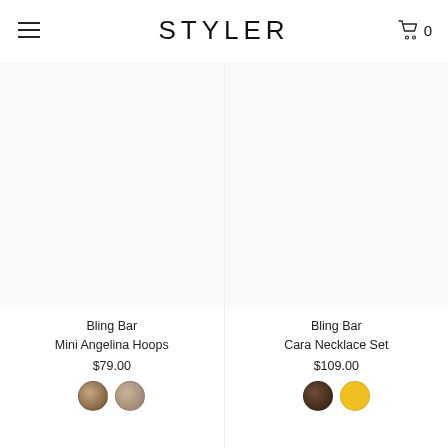STYLER
Bling Bar
Mini Angelina Hoops
$79.00
Bling Bar
Cara Necklace Set
$109.00